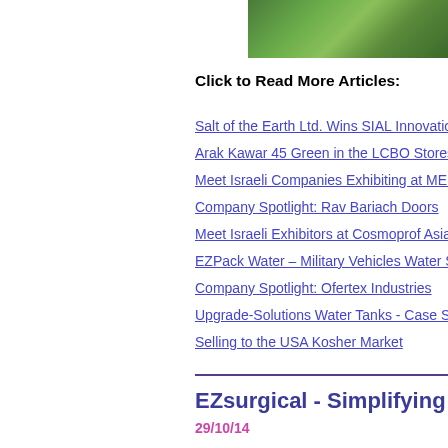[Figure (photo): Partial photo of a person outdoors with green foliage, cropped in top-right corner]
Click to Read More Articles:
Salt of the Earth Ltd. Wins SIAL Innovatio...
Arak Kawar 45 Green in the LCBO Stores...
Meet Israeli Companies Exhibiting at MED...
Company Spotlight: Rav Bariach Doors
Meet Israeli Exhibitors at Cosmoprof Asia...
EZPack Water – Military Vehicles Water S...
Company Spotlight: Ofertex Industries
Upgrade-Solutions Water Tanks - Case St...
Selling to the USA Kosher Market
EZsurgical - Simplifying Pr...
29/10/14